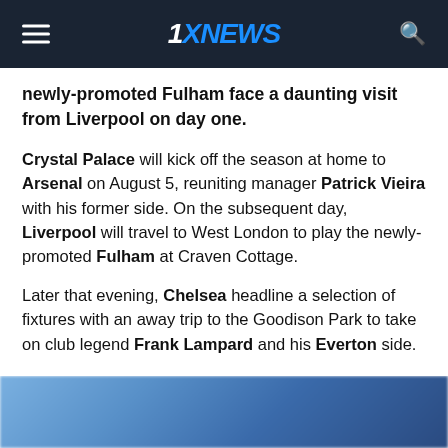1XNEWS
newly-promoted Fulham face a daunting visit from Liverpool on day one.
Crystal Palace will kick off the season at home to Arsenal on August 5, reuniting manager Patrick Vieira with his former side. On the subsequent day, Liverpool will travel to West London to play the newly-promoted Fulham at Craven Cottage.
Later that evening, Chelsea headline a selection of fixtures with an away trip to the Goodison Park to take on club legend Frank Lampard and his Everton side.
[Figure (photo): Blurred photo of football players in blue jerseys]